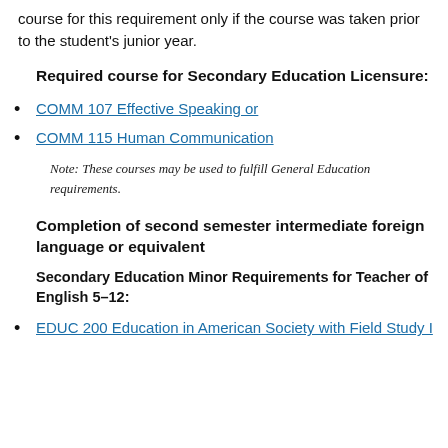course for this requirement only if the course was taken prior to the student's junior year.
Required course for Secondary Education Licensure:
COMM 107 Effective Speaking or
COMM 115 Human Communication
Note: These courses may be used to fulfill General Education requirements.
Completion of second semester intermediate foreign language or equivalent
Secondary Education Minor Requirements for Teacher of English 5–12:
EDUC 200 Education in American Society with Field Study I